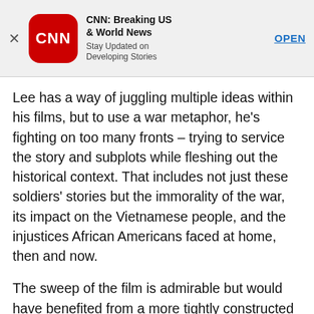[Figure (screenshot): CNN app advertisement banner with close button (X), CNN red rounded square logo, app name 'CNN: Breaking US & World News', subtitle 'Stay Updated on Developing Stories', and an OPEN button link]
Lee has a way of juggling multiple ideas within his films, but to use a war metaphor, he’s fighting on too many fronts – trying to service the story and subplots while fleshing out the historical context. That includes not just these soldiers’ stories but the immorality of the war, its impact on the Vietnamese people, and the injustices African Americans faced at home, then and now.
The sweep of the film is admirable but would have benefited from a more tightly constructed story. That said, a few sequences hit with bracing intensity, highlighted by Lindo, who at one point delivers a riveting monologue directly to the camera as he